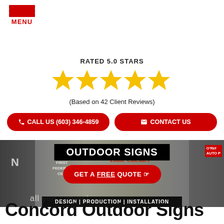[Figure (logo): Hamburger menu icon with three red horizontal bars and MENU label in red]
RATED 5.0 STARS
[Figure (infographic): Five golden star icons representing 5.0 star rating]
(Based on 42 Client Reviews)
CALL US (603) 346-4859
CONTACT US
[Figure (photo): Collage of outdoor business signs including First Federal, Little Caesars, O'Reilly Auto Parts signs with overlay text OUTDOOR SIGNS and GET A FREE QUOTE button and DESIGN | PRODUCTION | INSTALLATION bar]
Concord Outdoor Signs